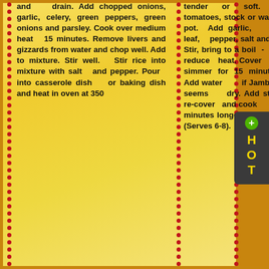and drain. Add chopped onions, garlic, celery, green peppers, green onions and parsley. Cook over medium heat 15 minutes. Remove livers and gizzards from water and chop well. Add to mixture. Stir well. Stir rice into mixture with salt and pepper. Pour into casserole dish or baking dish and heat in oven at 350
tender or soft. Add tomatoes, stock or water to pot. Add garlic, bay leaf, pepper, salt and rice. Stir, bring to a boil - then reduce heat. Cover and simmer for 15 minutes. Add water if Jambalaya seems dry. Add strimp, re-cover and cook 15 minutes longer. Mix well. (Serves 6-8).